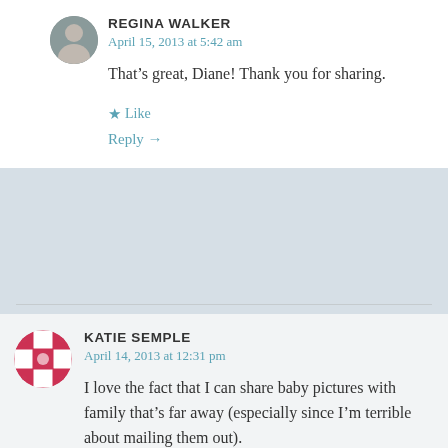REGINA WALKER
April 15, 2013 at 5:42 am
That’s great, Diane! Thank you for sharing.
★ Like
Reply →
KATIE SEMPLE
April 14, 2013 at 12:31 pm
I love the fact that I can share baby pictures with family that’s far away (especially since I’m terrible about mailing them out).
★ Like